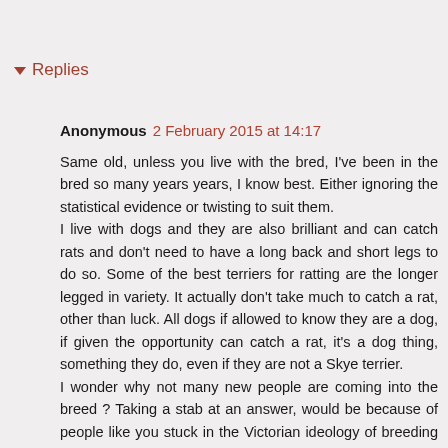Replies
Anonymous 2 February 2015 at 14:17
Same old, unless you live with the bred, I've been in the bred so many years years, I know best. Either ignoring the statistical evidence or twisting to suit them.
I live with dogs and they are also brilliant and can catch rats and don't need to have a long back and short legs to do so. Some of the best terriers for ratting are the longer legged in variety. It actually don't take much to catch a rat, other than luck. All dogs if allowed to know they are a dog, if given the opportunity can catch a rat, it's a dog thing, something they do, even if they are not a Skye terrier.
I wonder why not many new people are coming into the breed ? Taking a stab at an answer, would be because of people like you stuck in the Victorian ideology of breeding dogs.